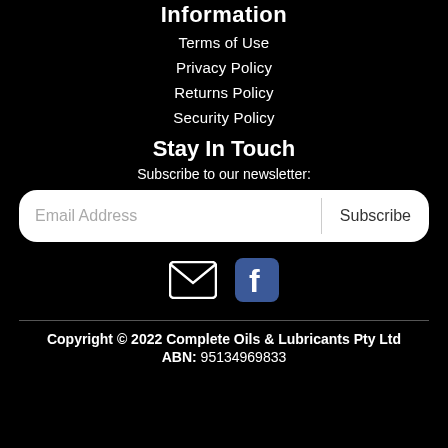Information
Terms of Use
Privacy Policy
Returns Policy
Security Policy
Stay In Touch
Subscribe to our newsletter:
[Figure (other): Email address input field with Subscribe button, white rounded rectangle on black background]
[Figure (other): Email icon (envelope) and Facebook icon side by side on black background]
Copyright © 2022 Complete Oils & Lubricants Pty Ltd
ABN: 95134969833